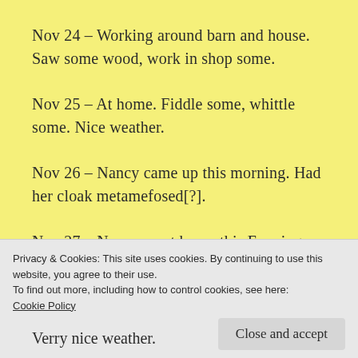Nov 24 – Working around barn and house. Saw some wood, work in shop some.
Nov 25 – At home. Fiddle some, whittle some. Nice weather.
Nov 26 – Nancy came up this morning. Had her cloak metamefosed[?].
Nov 27 – Nancy went home this Evening.
Verry nice weather.
Privacy & Cookies: This site uses cookies. By continuing to use this website, you agree to their use.
To find out more, including how to control cookies, see here:
Cookie Policy